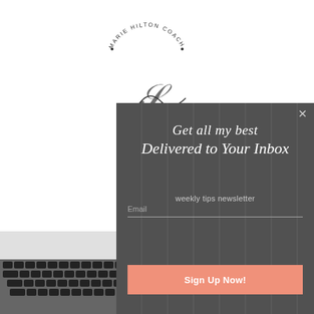[Figure (screenshot): Website screenshot with a modal popup overlay on a dark background featuring a laptop keyboard and coffee cup. The modal shows a newsletter signup form for Marie Hilton Coaching.]
Get all my best
Delivered to Your Inbox
weekly tips newsletter
Email
Sign Up Now!